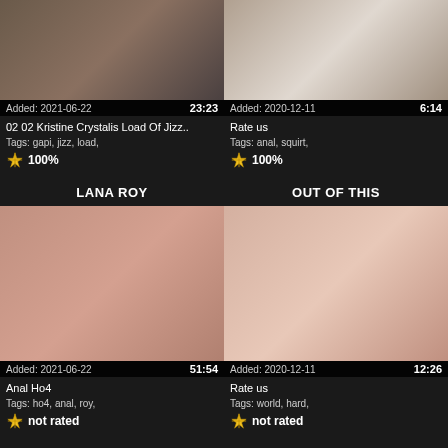[Figure (photo): Video thumbnail top-left]
Added: 2021-06-22  23:23
02 02 Kristine Crystalis Load Of Jizz..
Tags: gapi, jizz, load,  100%
[Figure (photo): Video thumbnail top-right]
Added: 2020-12-11  6:14
Rate us
Tags: anal, squirt,  100%
LANA ROY
OUT OF THIS
[Figure (photo): Video thumbnail bottom-left]
Added: 2021-06-22  51:54
Anal Ho4
Tags: ho4, anal, roy,  not rated
[Figure (photo): Video thumbnail bottom-right]
Added: 2020-12-11  12:26
Rate us
Tags: world, hard,  not rated